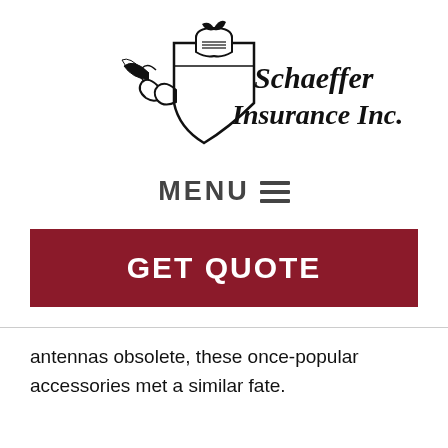[Figure (logo): Schaeffer Insurance Inc. logo: a knight's helmet above a shield with a dragon/lion figure, with stylized blackletter text reading 'Schaeffer Insurance Inc.']
MENU ☰
GET QUOTE
antennas obsolete, these once-popular accessories met a similar fate.